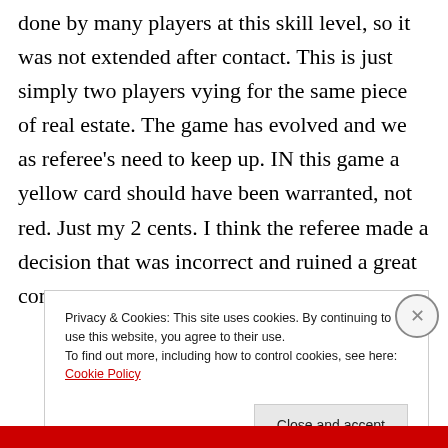done by many players at this skill level, so it was not extended after contact. This is just simply two players vying for the same piece of real estate. The game has evolved and we as referee's need to keep up. IN this game a yellow card should have been warranted, not red. Just my 2 cents. I think the referee made a decision that was incorrect and ruined a great contest.
Privacy & Cookies: This site uses cookies. By continuing to use this website, you agree to their use.
To find out more, including how to control cookies, see here: Cookie Policy